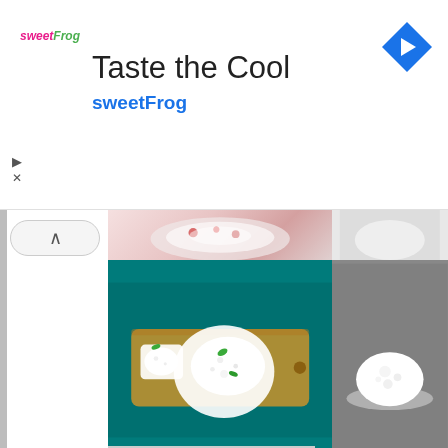[Figure (screenshot): SweetFrog advertisement banner with logo, title 'Taste the Cool', subtitle 'sweetFrog', and a blue diamond navigation arrow icon on the right.]
[Figure (photo): Google image search results showing photos of cottage cheese and dairy products. Top partial row shows a bowl with red fruits. Main large image shows cottage cheese on a wooden cutting board against teal background. Side column shows cottage cheese on a silver tray against grey background. Bottom row shows dairy items including milk jug, cottage cheese bowl, eggs, and cheese wedge on refrigerator shelf. Adjacent image shows milk and grapes on outdoor table. Bottom partial row shows a glass jug.]